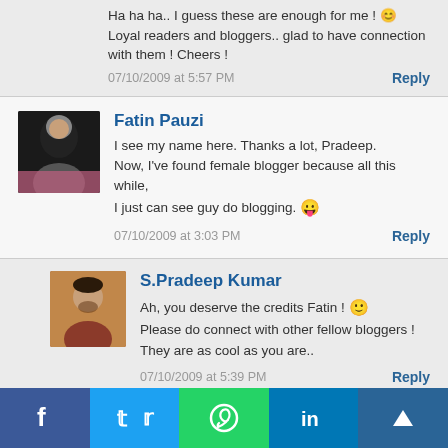Ha ha ha.. I guess these are enough for me ! 😊 Loyal readers and bloggers.. glad to have connection with them ! Cheers !
07/10/2009 at 5:57 PM
Reply
Fatin Pauzi
I see my name here. Thanks a lot, Pradeep.
Now, I've found female blogger because all this while, I just can see guy do blogging. 😛
07/10/2009 at 3:03 PM
Reply
S.Pradeep Kumar
Ah, you deserve the credits Fatin ! 🙂
Please do connect with other fellow bloggers !
They are as cool as you are..
07/10/2009 at 5:39 PM
Reply